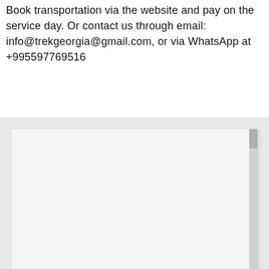Book transportation via the website and pay on the service day. Or contact us through email: info@trekgeorgia@gmail.com, or via WhatsApp at +995597769516
[Figure (other): A largely blank/white content area with a light gray background and a scrollbar on the right side, representing an embedded webpage or map panel.]